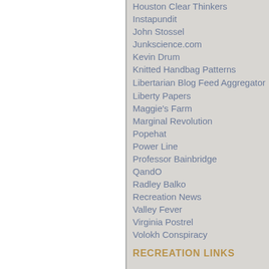Houston Clear Thinkers
Instapundit
John Stossel
Junkscience.com
Kevin Drum
Knitted Handbag Patterns
Libertarian Blog Feed Aggregator
Liberty Papers
Maggie's Farm
Marginal Revolution
Popehat
Power Line
Professor Bainbridge
QandO
Radley Balko
Recreation News
Valley Fever
Virginia Postrel
Volokh Conspiracy
RECREATION LINKS